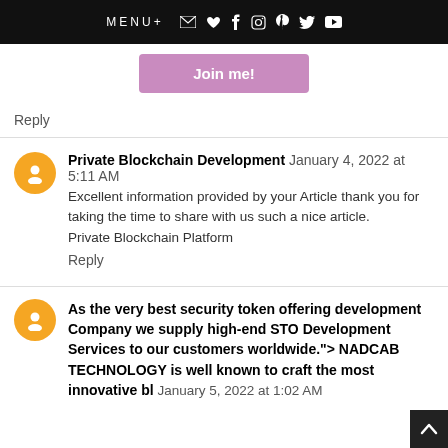MENU+  [email] [heart] [facebook] [instagram] [pinterest] [twitter] [youtube]
[Figure (other): Pink/purple 'Join me!' button]
Reply
Private Blockchain Development  January 4, 2022 at 5:11 AM
Excellent information provided by your Article thank you for taking the time to share with us such a nice article.
Private Blockchain Platform
Reply
As the very best security token offering development Company we supply high-end STO Development Services to our customers worldwide."> NADCAB TECHNOLOGY is well known to craft the most innovative bl  January 5, 2022 at 1:02 AM